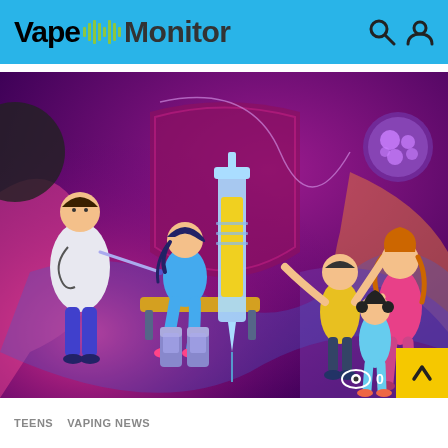Vape Monitor
[Figure (illustration): Colorful illustration on a purple/magenta gradient background showing a doctor vaccinating a child sitting on an exam table, a large syringe in the center, vaccine bottles below, a family (mother with two children) on the right, a shield shape in the background, and a bacteria/virus circle icon in the upper right. Eye icon and '0' in the lower right corner.]
TEENS
VAPING NEWS